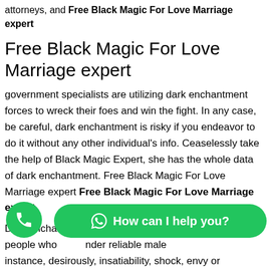attorneys, and Free Black Magic For Love Marriage expert
Free Black Magic For Love Marriage expert
government specialists are utilizing dark enchantment forces to wreck their foes and win the fight. In any case, be careful, dark enchantment is risky if you endeavor to do it without any other individual's info. Ceaselessly take the help of Black Magic Expert, she has the whole data of dark enchantment. Free Black Magic For Love Marriage expert Free Black Magic For Love Marriage expert
Dark enchantment is such a preparation that is done by people who under reliable male... instance, desirously, insatiability, shock, envy or dissatisfaction